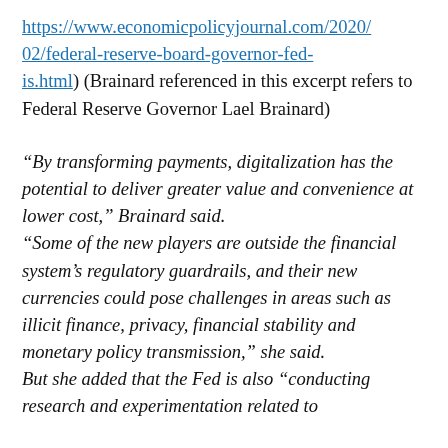https://www.economicpolicyjournal.com/2020/02/federal-reserve-board-governor-fed-is.html) (Brainard referenced in this excerpt refers to Federal Reserve Governor Lael Brainard)
“By transforming payments, digitalization has the potential to deliver greater value and convenience at lower cost,” Brainard said. “Some of the new players are outside the financial system’s regulatory guardrails, and their new currencies could pose challenges in areas such as illicit finance, privacy, financial stability and monetary policy transmission,” she said. But she added that the Fed is also “conducting research and experimentation related to